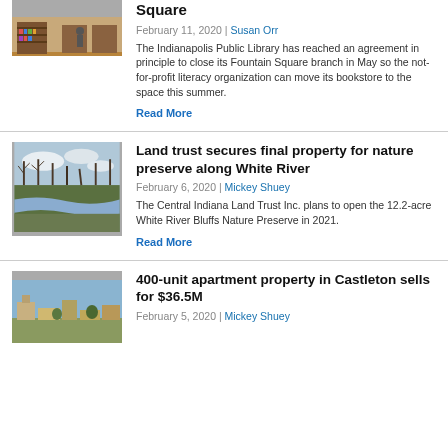[Figure (photo): Interior of a library or bookstore with wooden shelves and flooring]
Square
February 11, 2020 | Susan Orr
The Indianapolis Public Library has reached an agreement in principle to close its Fountain Square branch in May so the not-for-profit literacy organization can move its bookstore to the space this summer.
Read More
[Figure (photo): A river with bare trees along a wooded bank, overcast sky]
Land trust secures final property for nature preserve along White River
February 6, 2020 | Mickey Shuey
The Central Indiana Land Trust Inc. plans to open the 12.2-acre White River Bluffs Nature Preserve in 2021.
Read More
[Figure (photo): Aerial view of Castleton area with buildings and landscape]
400-unit apartment property in Castleton sells for $36.5M
February 5, 2020 | Mickey Shuey